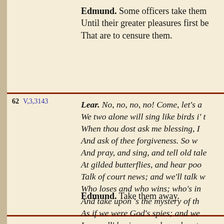Edmund. Some officers take them away. Until their greater pleasures first be known That are to censure them.
62  V,3,3143  Lear. No, no, no, no! Come, let's a— We two alone will sing like birds i' t— When thou dost ask me blessing, I— And ask of thee forgiveness. So w— And pray, and sing, and tell old tal— At gilded butterflies, and hear poo— Talk of court news; and we'll talk w— Who loses and who wins; who's in— And take upon 's the mystery of th— As if we were God's spies; and we— In a wall'd prison, packs and sects— That ebb and flow by th' moon.
Edmund. Take them away.